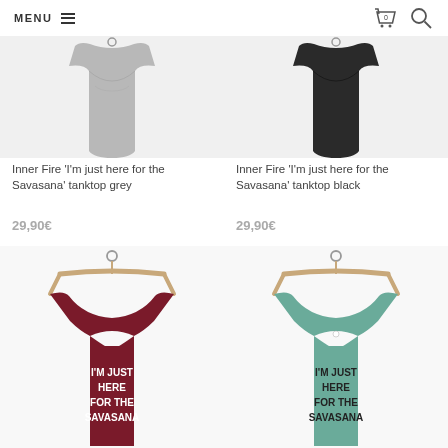MENU
[Figure (photo): Grey tank top on white background, partially visible from top]
Inner Fire 'I'm just here for the Savasana' tanktop grey
29,90€
[Figure (photo): Black tank top on white background, partially visible from top]
Inner Fire 'I'm just here for the Savasana' tanktop black
29,90€
[Figure (photo): Dark maroon/burgundy racerback tank top on wooden hanger with text 'I'M JUST HERE FOR THE SAVASANA' printed on it]
[Figure (photo): Teal/sage green racerback tank top on wooden hanger with text 'I'M JUST HERE FOR THE SAVASANA' printed on it]